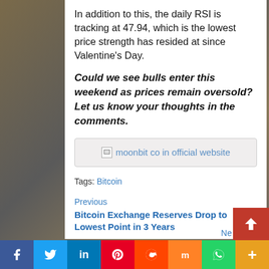In addition to this, the daily RSI is tracking at 47.94, which is the lowest price strength has resided at since Valentine's Day.
Could we see bulls enter this weekend as prices remain oversold? Let us know your thoughts in the comments.
[Figure (other): Banner image with broken image icon and link text: moonbit co in official website]
Tags: Bitcoin
Previous
Bitcoin Exchange Reserves Drop to Lowest Point in 3 Years
Social sharing bar: Facebook, Twitter, LinkedIn, Pinterest, Reddit, Mix, WhatsApp, More